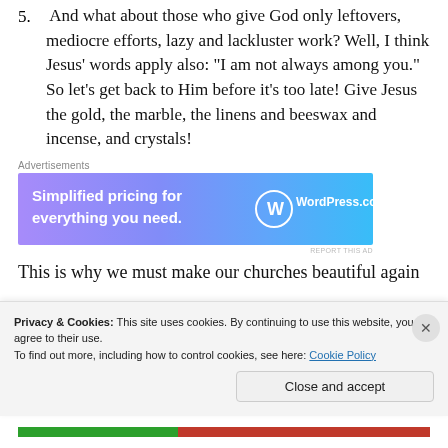5. And what about those who give God only leftovers, mediocre efforts, lazy and lackluster work? Well, I think Jesus' words apply also: “I am not always among you.” So let’s get back to Him before it’s too late! Give Jesus the gold, the marble, the linens and beeswax and incense, and crystals!
Advertisements
[Figure (other): WordPress.com advertisement banner: 'Simplified pricing for everything you need. WordPress.com']
This is why we must make our churches beautiful again
Privacy & Cookies: This site uses cookies. By continuing to use this website, you agree to their use.
To find out more, including how to control cookies, see here: Cookie Policy
Close and accept